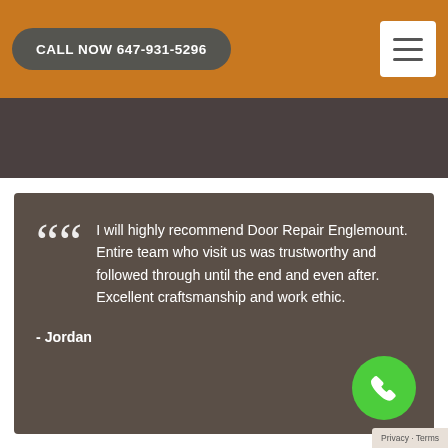CALL NOW 647-931-5296
I will highly recommend Door Repair Englemount. Entire team who visit us was trustworthy and followed through until the end and even after. Excellent craftsmanship and work ethic.

- Jordan